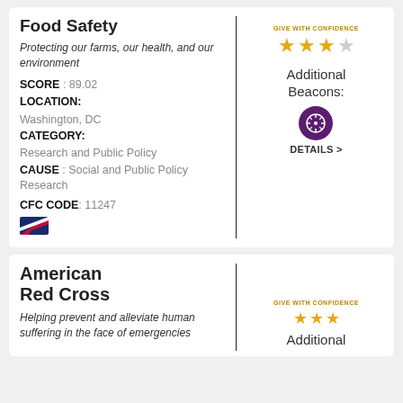Food Safety
Protecting our farms, our health, and our environment
SCORE: 89.02
LOCATION: Washington, DC
CATEGORY: Research and Public Policy
CAUSE : Social and Public Policy Research
CFC CODE: 11247
[Figure (other): Give With Confidence badge with 3 out of 4 stars rating]
[Figure (other): Purple circular beacon icon with steering wheel symbol, DETAILS > link]
American Red Cross
Helping prevent and alleviate human suffering in the face of emergencies
[Figure (other): Give With Confidence badge with stars (partial visible)]